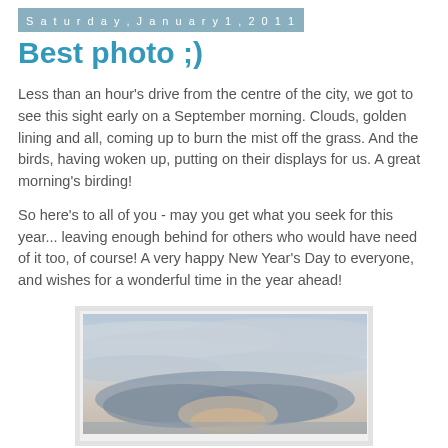Saturday, January 1, 2011
Best photo ;)
Less than an hour’s drive from the centre of the city, we got to see this sight early on a September morning. Clouds, golden lining and all, coming up to burn the mist off the grass. And the birds, having woken up, putting on their displays for us. A great morning’s birding!
So here's to all of you - may you get what you seek for this year... leaving enough behind for others who would have need of it too, of course! A very happy New Year's Day to everyone, and wishes for a wonderful time in the year ahead!
[Figure (photo): A sky photograph showing clouds with soft light, appearing to be taken at dawn or early morning. The sky is soft blue-grey with layered clouds and a hint of warm light near the horizon.]